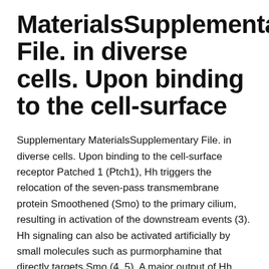MaterialsSupplementary File. in diverse cells. Upon binding to the cell-surface
Supplementary MaterialsSupplementary File. in diverse cells. Upon binding to the cell-surface receptor Patched 1 (Ptch1), Hh triggers the relocation of the seven-pass transmembrane protein Smoothened (Smo) to the primary cilium, resulting in activation of the downstream events (3). Hh signaling can also be activated artificially by small molecules such as purmorphamine that directly targets Smo (4, 5). A major output of Hh signaling is the induction of target genes through the Gli family of transcription factors. Of the three family members, Gli2 and Gli3 are the primary